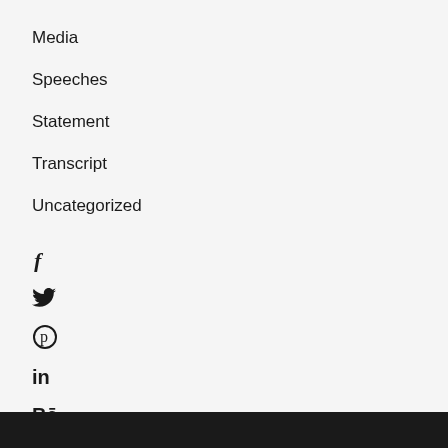Media
Speeches
Statement
Transcript
Uncategorized
[Figure (other): Social media icons: Facebook, Twitter, Pinterest, LinkedIn, Behance]